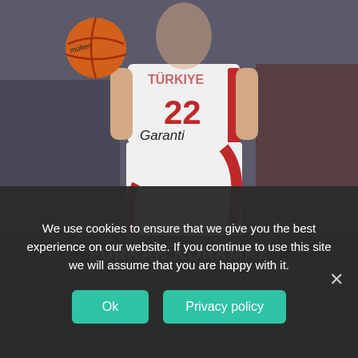[Figure (photo): Basketball player wearing white uniform with number 22 and 'Garanti' sponsor, holding an orange Molten basketball, playing in a game with crowd in background. Turkish national team uniform with red accents.]
FURKAN KORKMAZ
We use cookies to ensure that we give you the best experience on our website. If you continue to use this site we will assume that you are happy with it.